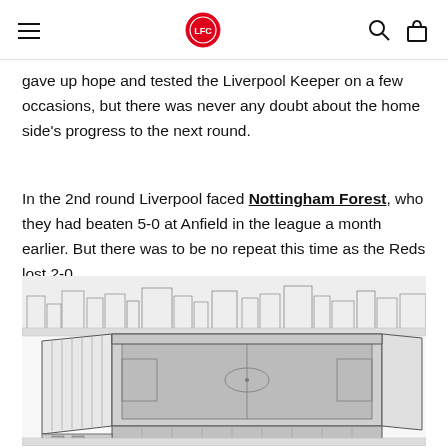[navigation: hamburger menu, Liverpool FC logo, search icon, bag icon]
gave up hope and tested the Liverpool Keeper on a few occasions, but there was never any doubt about the home side's progress to the next round.
In the 2nd round Liverpool faced Nottingham Forest, who they had beaten 5-0 at Anfield in the league a month earlier. But there was to be no repeat this time as the Reds lost 2-0.
[Figure (illustration): Black and white line drawing aerial/isometric illustration of a football stadium (Anfield) surrounded by terraced houses and streets.]